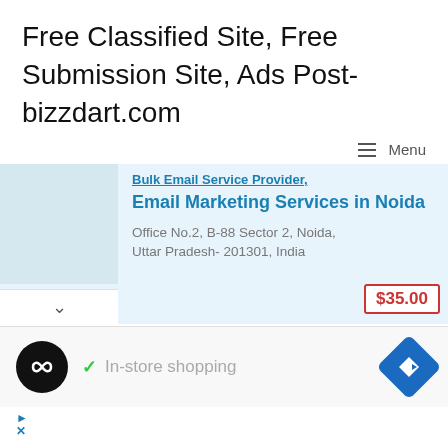Free Classified Site, Free Submission Site, Ads Post- bizzdart.com
≡ Menu
Bulk Email Service Provider, Email Marketing Services in Noida
Office No.2, B-88 Sector 2, Noida, Uttar Pradesh- 201301, India
$35.00
✓ In-store shopping